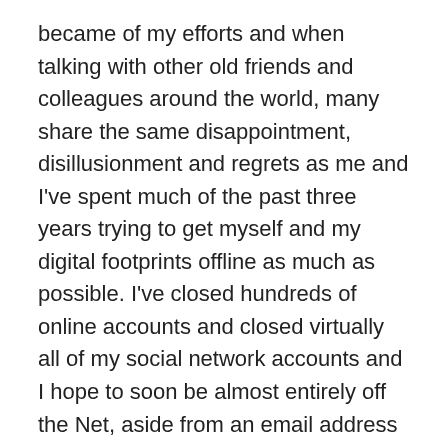became of my efforts and when talking with other old friends and colleagues around the world, many share the same disappointment, disillusionment and regrets as me and I've spent much of the past three years trying to get myself and my digital footprints offline as much as possible. I've closed hundreds of online accounts and closed virtually all of my social network accounts and I hope to soon be almost entirely off the Net, aside from an email address and a couple of other things – and now here I went and wrote way too much, so I apologize. I could actually write infinitely more. But as for this Dot.Con book, like I said, it's not bad and addresses a short but major part of our recent history. I should give it a higher rating. It's just that I know this stuff, predicted this stuff, could go far further in depth if I had the time and energy, and feel like this offered me, personally, little. However, as